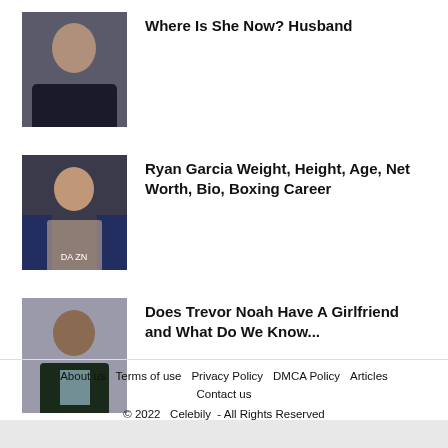[Figure (photo): Person photo thumbnail - top article]
Where Is She Now? Husband
[Figure (photo): Ryan Garcia shirtless boxing photo]
Ryan Garcia Weight, Height, Age, Net Worth, Bio, Boxing Career
[Figure (photo): Trevor Noah in suit smiling]
Does Trevor Noah Have A Girlfriend and What Do We Know...
About us   Terms of use   Privacy Policy   DMCA Policy   Articles   Contact us   © 2022   Celebily   - All Rights Reserved